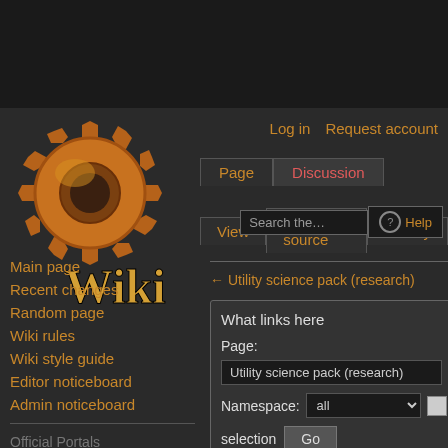[Figure (logo): Factorio Wiki logo: orange/bronze gear cog with Wiki text in gold]
Log in  Request account
Page  Discussion
View  View source  History  Search the…  Help
Main page
Recent changes
Random page
Wiki rules
Wiki style guide
Editor noticeboard
Admin noticeboard
Official Portals
Website
Forums
← Utility science pack (research)
What links here
Page:
Utility science pack (research)
Namespace: all  selection  Go